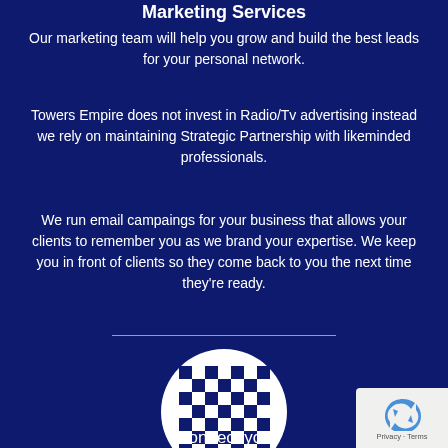Marketing Services
Our marketing team will help you grow and build the best leads for your personal network.
Towers Empire does not invest in Radio/Tv advertising instead we rely on maintaining Strategic Partnership with likeminded professionals.
We run email campaings for your business that allows your clients to remember you as we brand your expertise. We keep you in front of clients so they come back to you the next time they're ready.
[Figure (logo): White circle containing a dark navy blue checkerboard pattern logo (Towers Empire brand mark)]
Connect you